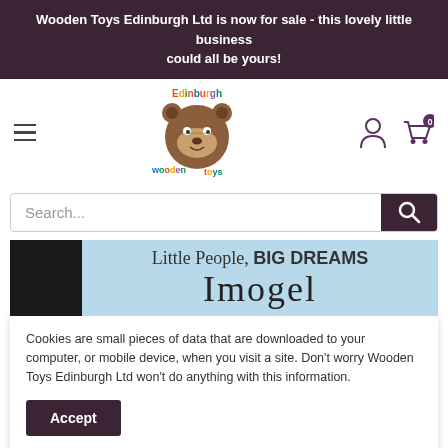Wooden Toys Edinburgh Ltd is now for sale - this lovely little business could all be yours!
[Figure (logo): Edinburgh Wooden Toys logo with a brown bear face and colourful text around it]
[Figure (screenshot): Search bar with Search... placeholder text and dark search button with magnifying glass icon]
[Figure (screenshot): Product banner with black block on left and light blue background with 'Little People, BIG DREAMS' text and handwriting style text below]
Cookies are small pieces of data that are downloaded to your computer, or mobile device, when you visit a site. Don't worry Wooden Toys Edinburgh Ltd won't do anything with this information.
Accept